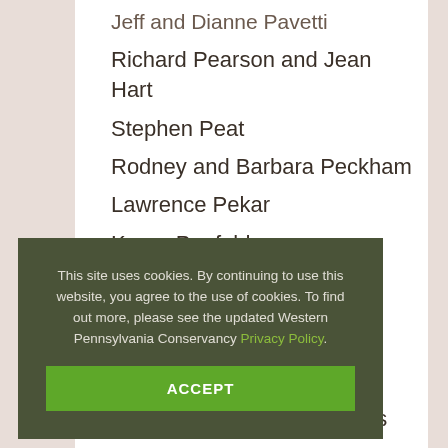Jeff and Dianne Pavetti
Richard Pearson and Jean Hart
Stephen Peat
Rodney and Barbara Peckham
Lawrence Pekar
Karen Penfold
Linda Perkins
Norman Perttula
This site uses cookies. By continuing to use this website, you agree to the use of cookies. To find out more, please see the updated Western Pennsylvania Conservancy Privacy Policy.
Christine and James Phillips